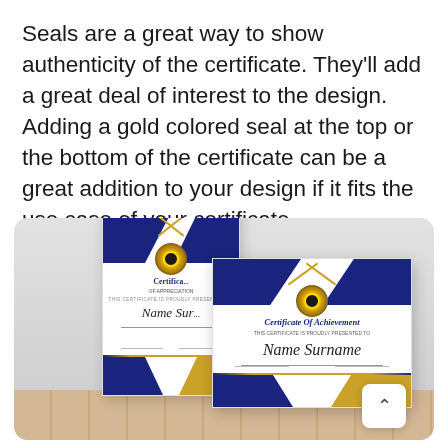Seals are a great way to show authenticity of the certificate. They'll add a great deal of interest to the design. Adding a gold colored seal at the top or the bottom of the certificate can be a great addition to your design if it fits the use case of your certificate.
[Figure (photo): Two blue and gold certificates with circular seals — one portrait (back) and one landscape (front) — displayed leaning against a wall on a wooden floor. Both certificates have navy blue corner accents, gold trim lines, circular gold/black seals, and italic script for 'Name Surname'. The front certificate reads 'Certificate Of Achievement' and 'Name Surname'.]